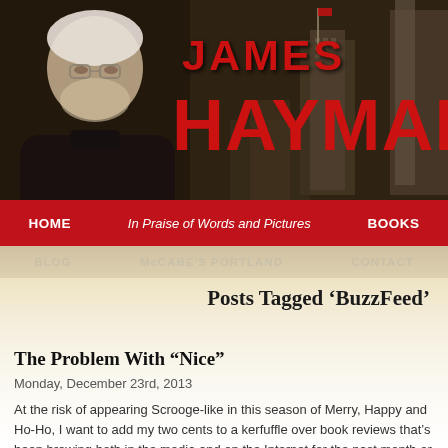[Figure (photo): Header banner of James Hayman author website. Shows a sepia-toned photo of an older man with white curly hair and glasses on the left, large red bold text reading JAMES HAYMAN in the center-right, with a city building silhouette in the background.]
HOME | In Praise of Words and Pictures | BOOKS
BLOG | McCABE'S PORTLAND | CONTACT
Posts Tagged ‘BuzzFeed’
The Problem With “Nice”
Monday, December 23rd, 2013
At the risk of appearing Scrooge-like in this season of Merry, Happy and Ho-Ho, I want to add my two cents to a kerfuffle over book reviews that’s been brewing both in the media and on the Internet for the past month or so.